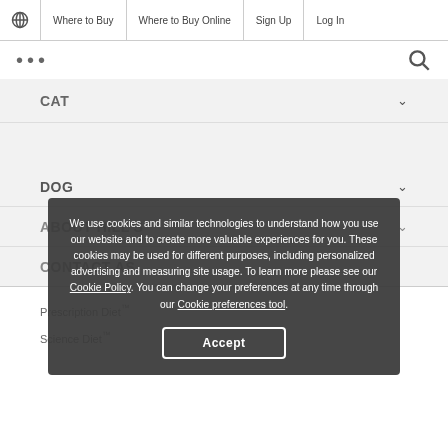Where to Buy | Where to Buy Online | Sign Up | Log In
... (hamburger/dots menu) and search icon
CAT
DOG
We use cookies and similar technologies to understand how you use our website and to create more valuable experiences for you. These cookies may be used for different purposes, including personalized advertising and measuring site usage. To learn more please see our Cookie Policy. You can change your preferences at any time through our Cookie preferences tool.
ABOUT HILL'S
CONTACT AS
Prescription Diet™
Science Diet™